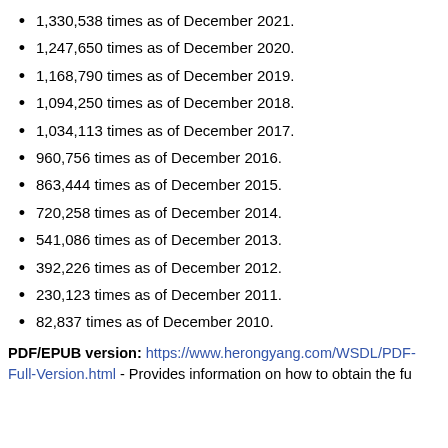1,330,538 times as of December 2021.
1,247,650 times as of December 2020.
1,168,790 times as of December 2019.
1,094,250 times as of December 2018.
1,034,113 times as of December 2017.
960,756 times as of December 2016.
863,444 times as of December 2015.
720,258 times as of December 2014.
541,086 times as of December 2013.
392,226 times as of December 2012.
230,123 times as of December 2011.
82,837 times as of December 2010.
PDF/EPUB version: https://www.herongyang.com/WSDL/PDF-Full-Version.html - Provides information on how to obtain the fu